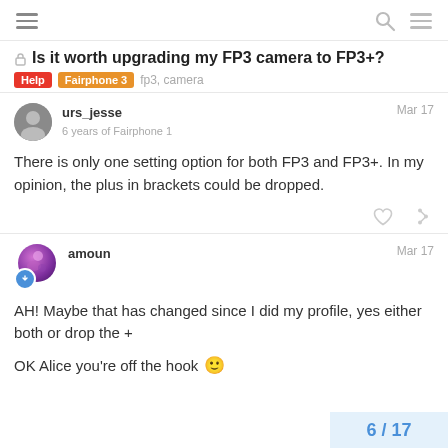Is it worth upgrading my FP3 camera to FP3+?
Is it worth upgrading my FP3 camera to FP3+?
Help  Fairphone 3  fp3, camera
urs_jesse
6 years of Fairphone 1
Mar 17
There is only one setting option for both FP3 and FP3+. In my opinion, the plus in brackets could be dropped.
amoun
Mar 17
AH! Maybe that has changed since I did my profile, yes either both or drop the +
OK Alice you're off the hook 🙂
6 / 17